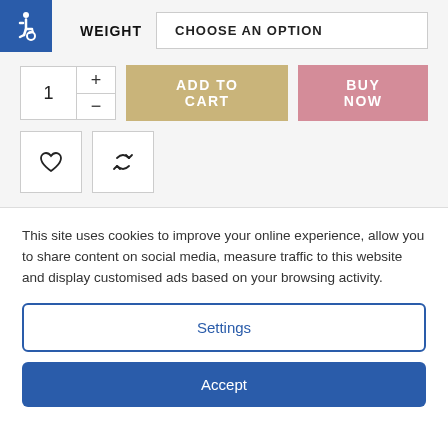[Figure (other): Accessibility icon button (blue square with wheelchair symbol)]
WEIGHT   CHOOSE AN OPTION
[Figure (other): Quantity selector with plus and minus buttons showing value 1, ADD TO CART button in tan/gold color, BUY NOW button in pink color]
[Figure (other): Heart (wishlist) icon button and recycle/compare icon button]
This site uses cookies to improve your online experience, allow you to share content on social media, measure traffic to this website and display customised ads based on your browsing activity.
Settings
Accept